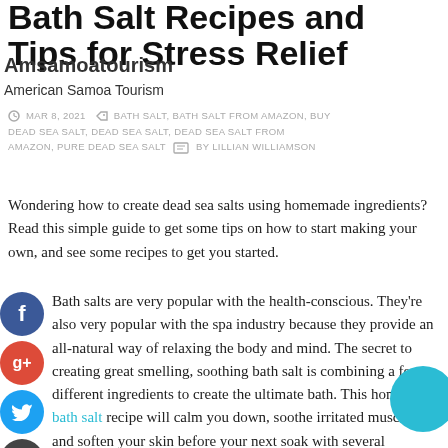Bath Salt Recipes and Tips for Stress Relief
Amsamoatourism
American Samoa Tourism
MAR 8, 2021  BATH SALT, BATH SALT FROM AMAZON, BUY DEAD SEA SALT, DEAD SEA SALT, DEAD SEA SALT FROM AMAZON, PURE DEAD SEA SALT  BY LILLIAN WILLIAMSON
Wondering how to create dead sea salts using homemade ingredients? Read this simple guide to get some tips on how to start making your own, and see some recipes to get you started.
Bath salts are very popular with the health-conscious. They're also very popular with the spa industry because they provide an all-natural way of relaxing the body and mind. The secret to creating great smelling, soothing bath salt is combining a few different ingredients to create the ultimate bath. This homemade bath salt recipe will calm you down, soothe irritated muscles and soften your skin before your next soak with several